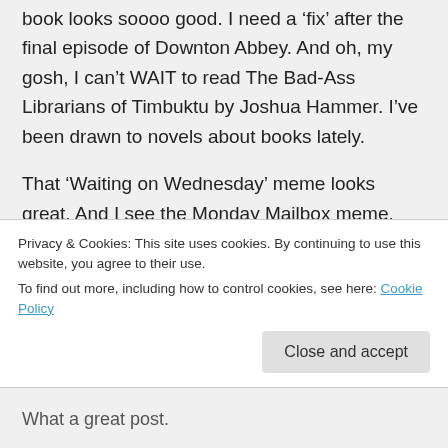book looks soooo good. I need a 'fix' after the final episode of Downton Abbey. And oh, my gosh, I can't WAIT to read The Bad-Ass Librarians of Timbuktu by Joshua Hammer. I've been drawn to novels about books lately.
That 'Waiting on Wednesday' meme looks great. And I see the Monday Mailbox meme. What other memes to you join?
★ Liked by 1 person
Privacy & Cookies: This site uses cookies. By continuing to use this website, you agree to their use. To find out more, including how to control cookies, see here: Cookie Policy
Close and accept
What a great post.